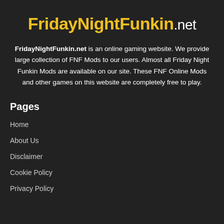FridayNightFunkin.net
FridayNightFunkin.net is an online gaming website. We provide large collection of FNF Mods to our users. Almost all Friday Night Funkin Mods are available on our site. These FNF Online Mods and other games on this website are completely free to play.
Pages
Home
About Us
Disclaimer
Cookie Policy
Privacy Policy